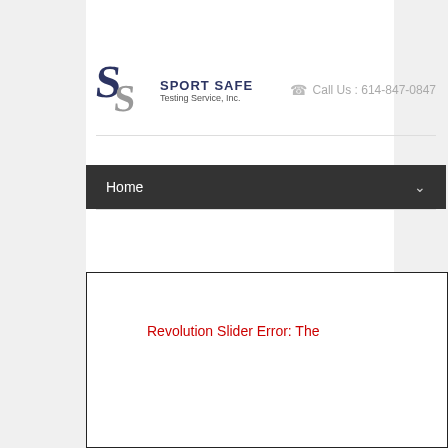[Figure (logo): Sport Safe Testing Service Inc logo with two S letters and brand name]
Call Us : 614-847-0847
Home
Revolution Slider Error: The